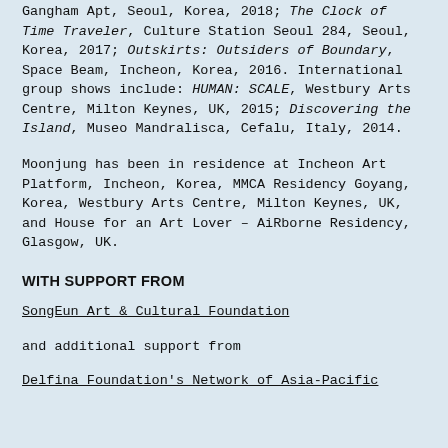Gangham Apt, Seoul, Korea, 2018; The Clock of Time Traveler, Culture Station Seoul 284, Seoul, Korea, 2017; Outskirts: Outsiders of Boundary, Space Beam, Incheon, Korea, 2016. International group shows include: HUMAN: SCALE, Westbury Arts Centre, Milton Keynes, UK, 2015; Discovering the Island, Museo Mandralisca, Cefalu, Italy, 2014.
Moonjung has been in residence at Incheon Art Platform, Incheon, Korea, MMCA Residency Goyang, Korea, Westbury Arts Centre, Milton Keynes, UK, and House for an Art Lover – AiRborne Residency, Glasgow, UK.
WITH SUPPORT FROM
SongEun Art & Cultural Foundation
and additional support from
Delfina Foundation's Network of Asia-Pacific